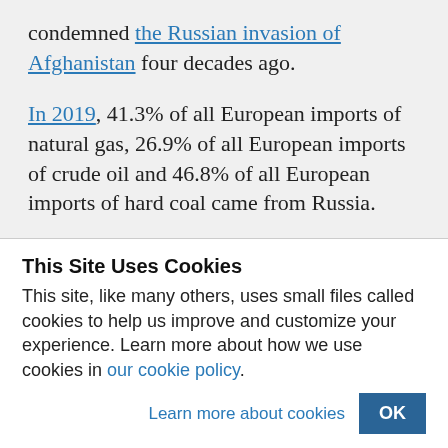condemned the Russian invasion of Afghanistan four decades ago.
In 2019, 41.3% of all European imports of natural gas, 26.9% of all European imports of crude oil and 46.8% of all European imports of hard coal came from Russia.
The contemplated European ban on Russian oil imports...
This Site Uses Cookies
This site, like many others, uses small files called cookies to help us improve and customize your experience. Learn more about how we use cookies in our cookie policy.
Learn more about cookies   OK